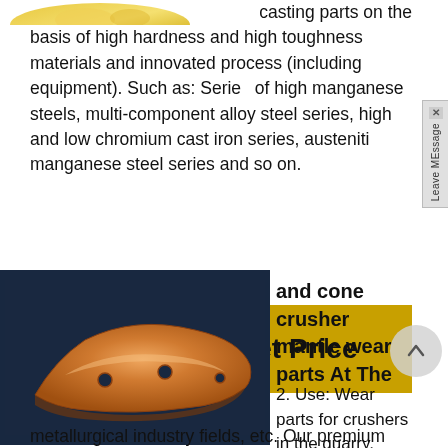[Figure (photo): Partial top image, appears to be a gold/metallic decorative element, cropped at the top of the page.]
casting parts on the basis of high hardness and high toughness materials and innovated process (including equipment). Such as: Series of high manganese steels, multi-component alloy steel series, high and low chromium cast iron series, austenitic manganese steel series and so on.
[Figure (other): Get Price button - gold/yellow rectangular button with bold text 'Get Price']
[Figure (photo): Product photo of a cone crusher mantle wear part - curved orange/copper colored metal casting piece with holes, on dark blue background.]
and cone crusher mantle wear parts At The
2. Use: Wear parts for crushers in the quarry, mining, construction and
metallurgical industry fields, etc. Our premium products are